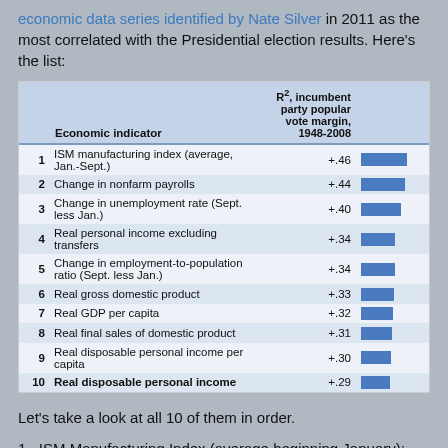economic data series identified by Nate Silver in 2011 as the most correlated with the Presidential election results. Here's the list:
|  | Economic indicator | R², incumbent party popular vote margin, 1948-2008 |  |
| --- | --- | --- | --- |
| 1 | ISM manufacturing index (average, Jan.-Sept.) | +.46 |  |
| 2 | Change in nonfarm payrolls | +.44 |  |
| 3 | Change in unemployment rate (Sept. less Jan.) | +.40 |  |
| 4 | Real personal income excluding transfers | +.34 |  |
| 5 | Change in employment-to-population ratio (Sept. less Jan.) | +.34 |  |
| 6 | Real gross domestic product | +.33 |  |
| 7 | Real GDP per capita | +.32 |  |
| 8 | Real final sales of domestic product | +.31 |  |
| 9 | Real disposable personal income per capita | +.30 |  |
| 10 | Real disposable personal income | +.29 |  |
Let's take a look at all 10 of them in order.
1.  ISM Manufacturing Index (average beginning January):
[Figure (screenshot): FRED logo strip with ISM Manufacturing: PMI Composite Index®:50 legend]